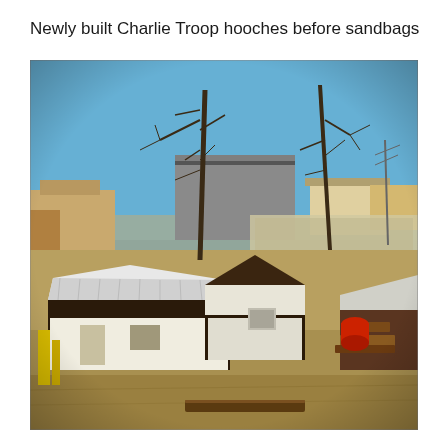Newly built Charlie Troop hooches before sandbags
[Figure (photo): A vintage color photograph taken from an elevated angle showing newly constructed military hooches (simple wooden structures with corrugated metal roofs) in what appears to be a Vietnam War-era military base. Several small white-painted buildings with dark roofs are visible in the foreground. Bare trees stand in the middle ground. In the background are larger structures, a basketball court, and wide sandy/dirt ground under a bright blue sky. Construction materials and debris are scattered around.]